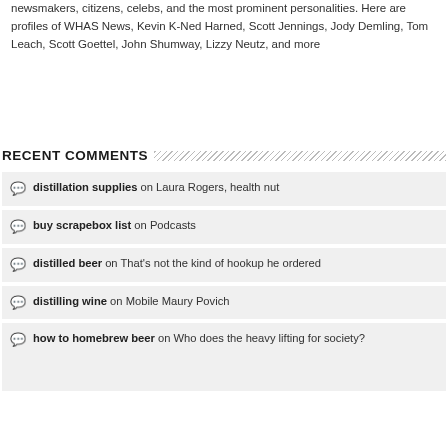#WHAS100 🎙 The 50,000 watt blowtorch that amplifies newsmakers, citizens, celebs, and the most prominent personalities. Here are profiles of WHAS News, Kevin K-Ned Harned, Scott Jennings, Jody Demling, Tom Leach, Scott Goettel, John Shumway, Lizzy Neutz, and more
RECENT COMMENTS
distillation supplies on Laura Rogers, health nut
buy scrapebox list on Podcasts
distilled beer on That's not the kind of hookup he ordered
distilling wine on Mobile Maury Povich
how to homebrew beer on Who does the heavy lifting for society?